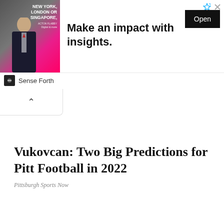[Figure (screenshot): Advertisement banner showing a man in a dark suit against a pink/magenta background with text 'NEW YORK, LONDON OR SINGAPORE,' and headline 'Make an impact with insights.' with an Open button. Brand: Sense Forth.]
Vukovcan: Two Big Predictions for Pitt Football in 2022
Pittsburgh Sports Now